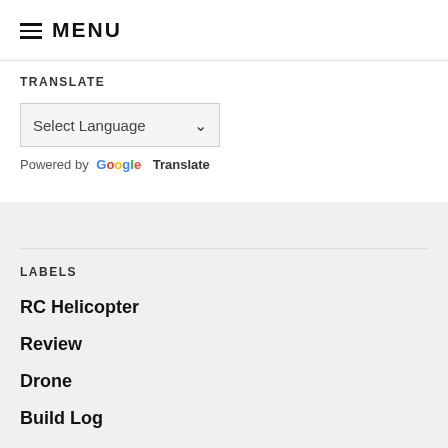≡ MENU
TRANSLATE
Select Language ▾
Powered by Google Translate
LABELS
RC Helicopter
Review
Drone
Build Log